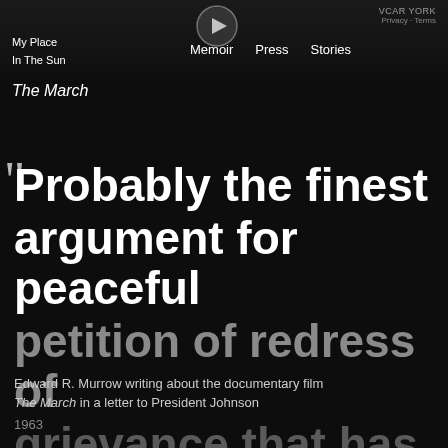My Place In The Sun
Memoir   Press   Stories
The March
Probably the finest argument for peaceful petition of redress of grievance that has ever
Edward R. Murrow writing about the documentary film The March in a letter to President Johnson
1963